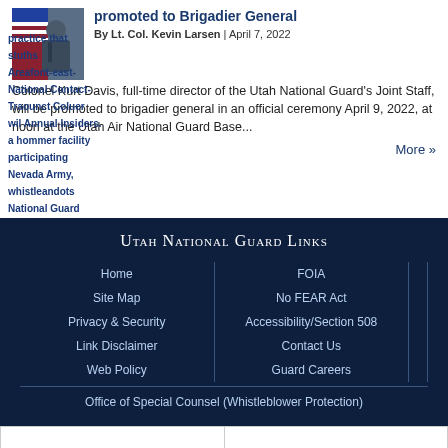[Figure (photo): Military officer photo with US flag background]
promoted to Brigadier General
By Lt. Col. Kevin Larsen | April 7, 2022
Colonel Kurt Davis, full-time director of the Utah National Guard's Joint Staff, will be promoted to brigadier general in an official ceremony April 9, 2022, at noon at the Utah Air National Guard Base...
More »
Utah National Guard Links
Home
FOIA
Site Map
No FEAR Act
Privacy & Security
Accessibility/Section 508
Link Disclaimer
Contact Us
Web Policy
Guard Careers
Office of Special Counsel (Whistleblower Protection)